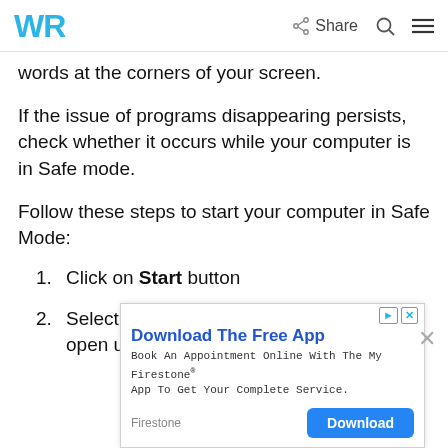WR | Share
words at the corners of your screen.
If the issue of programs disappearing persists, check whether it occurs while your computer is in Safe mode.
Follow these steps to start your computer in Safe Mode:
1. Click on Start button
2. Select Settings – the Settings box will open up
[Figure (screenshot): Advertisement banner for Firestone app download with title 'Download The Free App' and a blue Download button.]